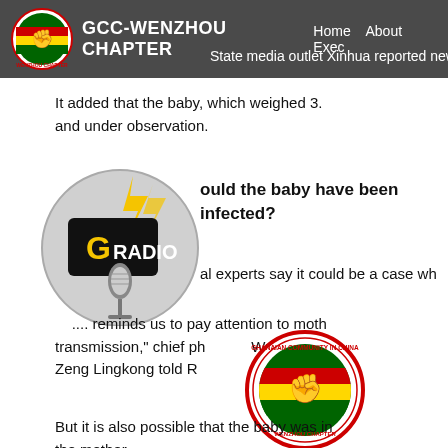GCC-WENZHOU CHAPTER  Home  About  Exec
State media outlet Xinhua reported news
It added that the baby, which weighed 3. and under observation.
ould the baby have been infected?
[Figure (logo): GRadio logo: black megaphone with yellow text GRADIO and silver microphone on circular grey background with lightning bolts]
al experts say it could be a case wh
This reminds us to pay attention to moth transmission," chief ph Wuhan C Zeng Lingkong told R
[Figure (logo): Ghanaian Community in China - Wenzhou Chapter circular seal logo with fist and Ghana flag colors]
But it is also possible that the baby was in the mother.